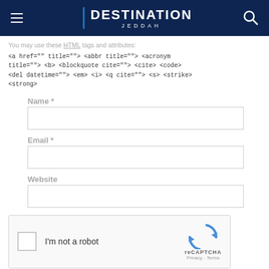DESTINATION JEDDAH
You may use these HTML tags and attributes:
<a href="" title=""> <abbr title=""> <acronym title=""> <b> <blockquote cite=""> <cite> <code> <del datetime=""> <em> <i> <q cite=""> <s> <strike> <strong>
Name *
Email *
Website
[Figure (other): reCAPTCHA widget with checkbox labeled I'm not a robot]
Post Comment